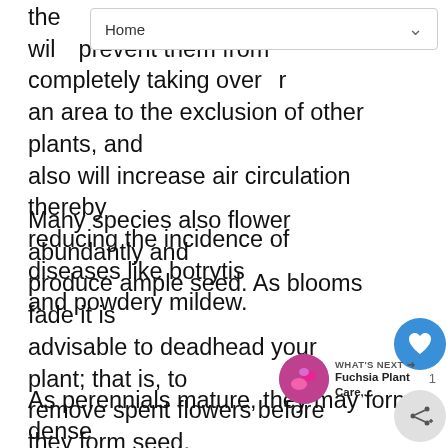Home
the ... ns will prevent them from completely taking over an area to the exclusion of other plants, and also will increase air circulation thereby reducing the incidence of diseases like botrytis and powdery mildew.
Many species also flower abundantly and produce ample seed. As blooms fade it is advisable to deadhead your plant; that is, to remove spent flowers before they form seed. This will prevent your plants from seeding all over the garden and will conserve the considerable energy it takes the plant to produce seed.
As perennials mature, they may form a dense
[Figure (other): WHAT'S NEXT arrow label with Fuchsia Plant Care thumbnail image]
[Figure (other): Heart/like button (blue circle with heart icon) showing count 1]
[Figure (other): Share button (grey circle with share icon)]